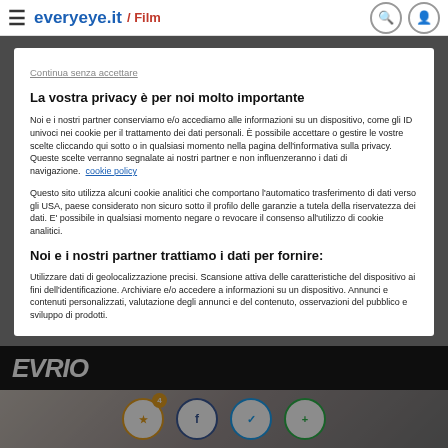evereye.it / Film
Continua senza accettare
La vostra privacy è per noi molto importante
Noi e i nostri partner conserviamo e/o accediamo alle informazioni su un dispositivo, come gli ID univoci nei cookie per il trattamento dei dati personali. È possibile accettare o gestire le vostre scelte cliccando qui sotto o in qualsiasi momento nella pagina dell'informativa sulla privacy. Queste scelte verranno segnalate ai nostri partner e non influenzeranno i dati di navigazione. cookie policy
Questo sito utilizza alcuni cookie analitici che comportano l'automatico trasferimento di dati verso gli USA, paese considerato non sicuro sotto il profilo delle garanzie a tutela della riservatezza dei dati. E' possibile in qualsiasi momento negare o revocare il consenso all'utilizzo di cookie analitici.
Noi e i nostri partner trattiamo i dati per fornire:
Utilizzare dati di geolocalizzazione precisi. Scansione attiva delle caratteristiche del dispositivo ai fini dell'identificazione. Archiviare e/o accedere a informazioni su un dispositivo. Annunci e contenuti personalizzati, valutazione degli annunci e del contenuto, osservazioni del pubblico e sviluppo di prodotti.
Elenco dei partner (fornitori)
Personalizza
Accetto